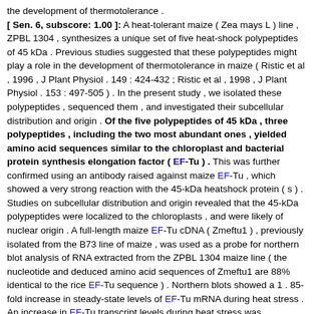the development of thermotolerance . [ Sen. 6, subscore: 1.00 ]: A heat-tolerant maize ( Zea mays L ) line , ZPBL 1304 , synthesizes a unique set of five heat-shock polypeptides of 45 kDa . Previous studies suggested that these polypeptides might play a role in the development of thermotolerance in maize ( Ristic et al , 1996 , J Plant Physiol . 149 : 424-432 ; Ristic et al , 1998 , J Plant Physiol . 153 : 497-505 ) . In the present study , we isolated these polypeptides , sequenced them , and investigated their subcellular distribution and origin . Of the five polypeptides of 45 kDa , three polypeptides , including the two most abundant ones , yielded amino acid sequences similar to the chloroplast and bacterial protein synthesis elongation factor ( EF-Tu ) . This was further confirmed using an antibody raised against maize EF-Tu , which showed a very strong reaction with the 45-kDa heatshock protein ( s ) . Studies on subcellular distribution and origin revealed that the 45-kDa polypeptides were localized to the chloroplasts , and were likely of nuclear origin . A full-length maize EF-Tu cDNA ( Zmeftu1 ) , previously isolated from the B73 line of maize , was used as a probe for northern blot analysis of RNA extracted from the ZPBL 1304 maize line ( the nucleotide and deduced amino acid sequences of Zmeftu1 are 88% identical to the rice EF-Tu sequence ) . Northern blots showed a 1 . 85-fold increase in steady-state levels of EF-Tu mRNA during heat stress . An increase in EF-Tu transcript levels during heat stress was accompanied by increased levels of the EF-Tu protein . Isolated chloroplasts from heat-stressed plants also had higher levels of EF-Tu as compared to control chloroplasts . The maize EF-Tu polypeptides showed > 80% sequence similarity with the bacterial EF-Tu , which has recently been shown to function as a molecular chaperone and to play a role in the protection of other proteins from thermal denaturation ( Caldas et al , 1998 , J Biol . Chem . 273 : 11478-11482 ) . It is hypothesized that